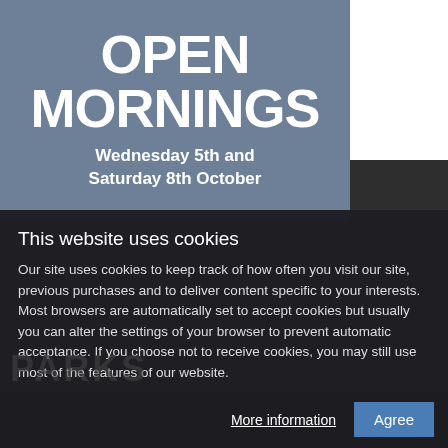OPEN MORNINGS
Wednesday 5th and Saturday 8th October
This website uses cookies
Our site uses cookies to keep track of how often you visit our site, previous purchases and to deliver content specific to your interests. Most browsers are automatically set to accept cookies but usually you can alter the settings of your browser to prevent automatic acceptance. If you choose not to receive cookies, you may still use most of the features of our website.
More information
Agree